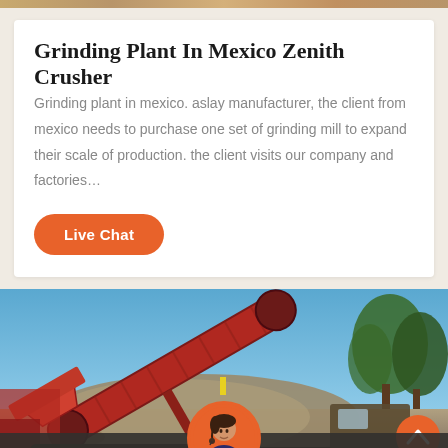Grinding Plant In Mexico Zenith Crusher
Grinding plant in mexico. aslay manufacturer, the client from mexico needs to purchase one set of grinding mill to expand their scale of production. the client visits our company and factories…
Live Chat
[Figure (photo): Industrial crusher/grinding machine in operation at an open-pit quarry site, with blue sky background and rock mounds. Orange-red heavy machinery conveyor belt angled diagonally.]
Leave Message
Chat Online